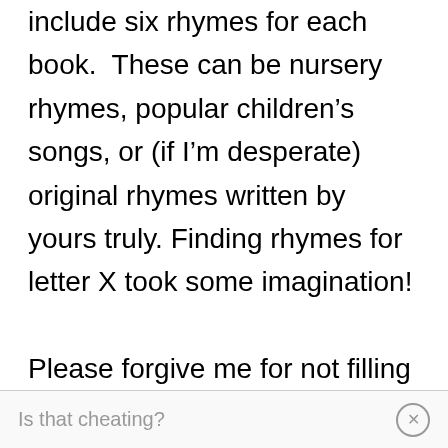include six rhymes for each book.  These can be nursery rhymes, popular children's songs, or (if I'm desperate) original rhymes written by yours truly. Finding rhymes for letter X took some imagination!

Please forgive me for not filling the letter X book with words that  begin with X.  Xylophone doesn't exactly teach the sound of x, anyway.  Instead, the mini-book's rhymes mainly consist of words that have x within them.
Is that cheating?